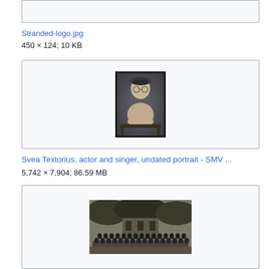[Figure (other): Top image box (partial/cropped, gray background)]
Stranded-logo.jpg
450 × 124; 10 KB
[Figure (photo): Black and white portrait photo of Svea Textorius, actor and singer, undated, leaning on a table with hands under chin, wearing a beret-style hat]
Svea Textorius, actor and singer, undated portrait - SMV ...
5,742 × 7,904; 86.59 MB
[Figure (photo): Black and white group photograph of a large number of people posed outdoors under trees]